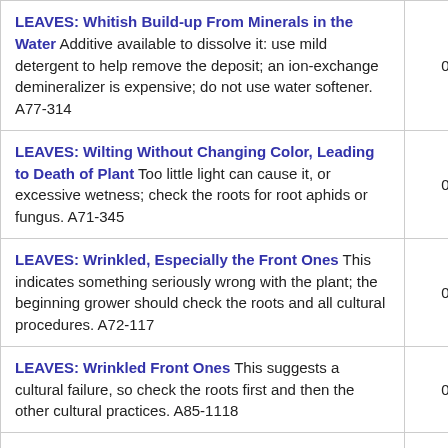| Description |  |
| --- | --- |
| LEAVES: Whitish Build-up From Minerals in the Water Additive available to dissolve it: use mild detergent to help remove the deposit; an ion-exchange demineralizer is expensive; do not use water softener. A77-314 | 0 |
| LEAVES: Wilting Without Changing Color, Leading to Death of Plant Too little light can cause it, or excessive wetness; check the roots for root aphids or fungus. A71-345 | 0 |
| LEAVES: Wrinkled, Especially the Front Ones This indicates something seriously wrong with the plant; the beginning grower should check the roots and all cultural procedures. A72-117 | 0 |
| LEAVES: Wrinkled Front Ones This suggests a cultural failure, so check the roots first and then the other cultural practices. A85-1118 | 0 |
| LEAVES: Wrinkling on Cattleyas This is caused either by overwatering or under-watering, so take your pick; disease is not likely to cause it; also, check the roots. A81-969 | 0 |